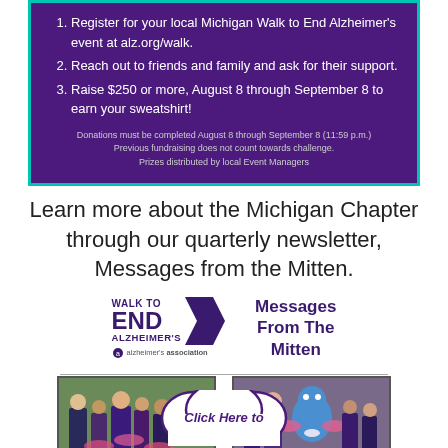1. Register for your local Michigan Walk to End Alzheimer's event at alz.org/walk.
2. Reach out to friends and family and ask for their support.
3. Raise $250 or more, August 8 through September 8 to earn your sweatshirt!
Donations must be completed August 8 through September 8 (11:59 p.m.)
Previous fundraising does not count towards challenge.
Prizes distributed by local Event Managers
Learn more about the Michigan Chapter through our quarterly newsletter, Messages from the Mitten.
[Figure (logo): Walk to End Alzheimer's logo with purple arrow and Alzheimer's Association text]
Messages From The Mitten
[Figure (photo): Two photos of Walk to End Alzheimer's participants, and a cloud-shaped 'Click Here to' button at the bottom]